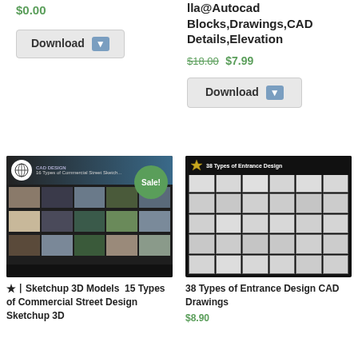$0.00
[Figure (screenshot): Download button with arrow icon]
lla@Autocad Blocks,Drawings,CAD Details,Elevation
$18.00 $7.99
[Figure (screenshot): Download button with arrow icon]
[Figure (photo): Sketchup 3D Models - 15 Types of Commercial Street Design product listing image with Sale badge]
[Figure (photo): 38 Types of Entrance Design CAD Drawings product listing image showing a grid of CAD entrance designs]
★丨Sketchup 3D Models  15 Types of Commercial Street Design Sketchup 3D
38 Types of Entrance Design CAD Drawings
$8.90